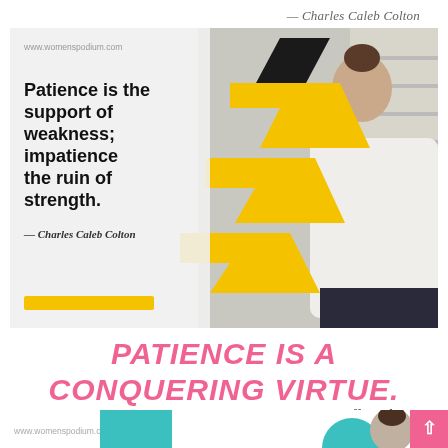— Charles Caleb Colton
[Figure (infographic): Quote card with woman in white blouse leaning against wall with arms crossed. Yellow chevron decorative shapes overlay the photo. Quote text reads 'Patience is the support of weakness; impatience the ruin of strength.' attributed to Charles Caleb Colton. Website label www.womenspodium.com. Yellow horizontal bar at bottom left.]
PATIENCE IS A CONQUERING VIRTUE.
— Geoffrey Chaucer
[Figure (infographic): Bottom partial infographic strip showing www.womenspodium.com label, teal block, partial teal arc, partial person circle photo, and pink scroll-to-top button.]